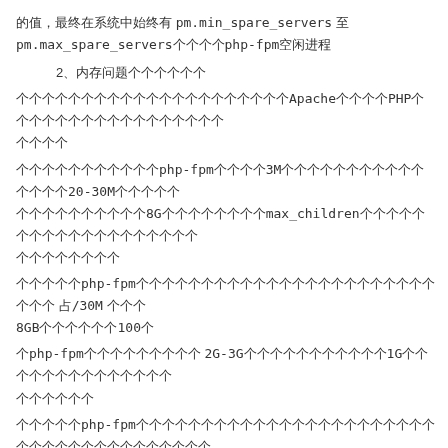的值，最终在系统中始终有 pm.min_spare_servers 至 pm.max_spare_servers 个php-fpm空闲进程
2、内存问题
现在很多人的php环境，不用Apache而使用PHP-FPM来管理php进程，内存不断增大
使用php-fpm管理php，默认初始3M一个进程，但跑一段时间后会变为20-30M一个进程，如果内存有8G，可以将max_children设得很大，因为每个进程都只需要一点内存。
运行中php-fpm进程使用内存如何计算：我的博客每一个php-fpm进程 占/30M 内存，共8GB内存，约100个
当php-fpm内存超过阈值 2G-3G时，需要释放，只有1G的VPS可以很随便地设置了。
小巧的php-fpm配置文件，每个进程也只需要很少的内存就能轻松运行
每个进程内存是256M，一台VPS上分配20M内存，最多10个php-cgi进程